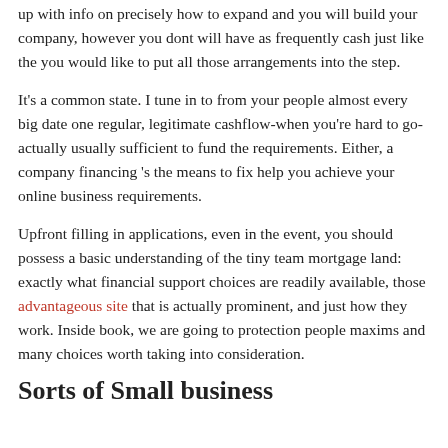up with info on precisely how to expand and you will build your company, however you dont will have as frequently cash just like the you would like to put all those arrangements into the step.
It's a common state. I tune in to from your people almost every big date one regular, legitimate cashflow-when you're hard to go-actually usually sufficient to fund the requirements. Either, a company financing 's the means to fix help you achieve your online business requirements.
Upfront filling in applications, even in the event, you should possess a basic understanding of the tiny team mortgage land: exactly what financial support choices are readily available, those advantageous site that is actually prominent, and just how they work. Inside book, we are going to protection people maxims and many choices worth taking into consideration.
Sorts of Small business